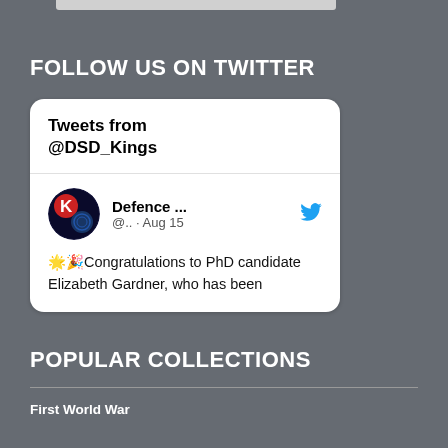FOLLOW US ON TWITTER
[Figure (screenshot): Twitter widget showing tweets from @DSD_Kings. A tweet card from Defence... @.. Aug 15 with emojis: Congratulations to PhD candidate Elizabeth Gardner, who has been]
POPULAR COLLECTIONS
First World War